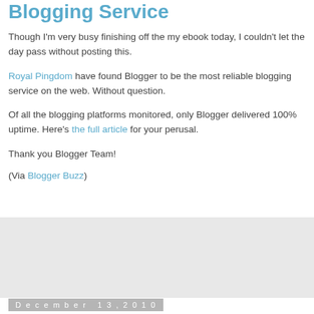Blogging Service
Though I'm very busy finishing off the my ebook today, I couldn't let the day pass without posting this.
Royal Pingdom have found Blogger to be the most reliable blogging service on the web. Without question.
Of all the blogging platforms monitored, only Blogger delivered 100% uptime. Here's the full article for your perusal.
Thank you Blogger Team!
(Via Blogger Buzz)
[Figure (other): Gray placeholder advertisement or image box]
December 13, 2010
Free Template - Blogger Buster Christmas